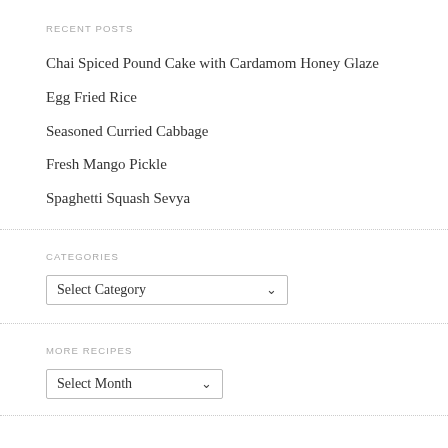RECENT POSTS
Chai Spiced Pound Cake with Cardamom Honey Glaze
Egg Fried Rice
Seasoned Curried Cabbage
Fresh Mango Pickle
Spaghetti Squash Sevya
CATEGORIES
Select Category
MORE RECIPES
Select Month